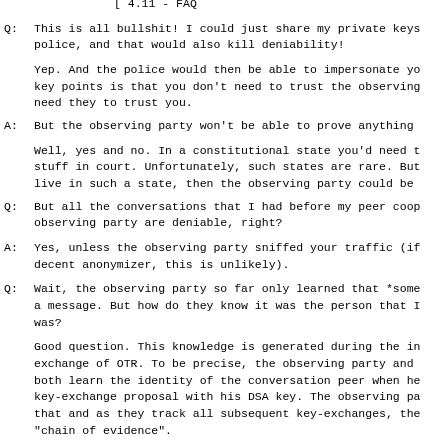[ 4.11 - FAQ
Q: This is all bullshit! I could just share my private keys police, and that would also kill deniability!
Yep. And the police would then be able to impersonate yo key points is that you don't need to trust the observing need they to trust you.
A: But the observing party won't be able to prove anything
Well, yes and no. In a constitutional state you'd need t stuff in court. Unfortunately, such states are rare. But live in such a state, then the observing party could be
Q: But all the conversations that I had before my peer coop observing party are deniable, right?
A: Yes, unless the observing party sniffed your traffic (if decent anonymizer, this is unlikely).
Q: Wait, the observing party so far only learned that *some a message. But how do they know it was the person that I was?
Good question. This knowledge is generated during the in exchange of OTR. To be precise, the observing party and both learn the identity of the conversation peer when he key-exchange proposal with his DSA key. The observing pa that and as they track all subsequent key-exchanges, the "chain of evidence".
Q: But doesn't [4] already kill the deniability of OTR?